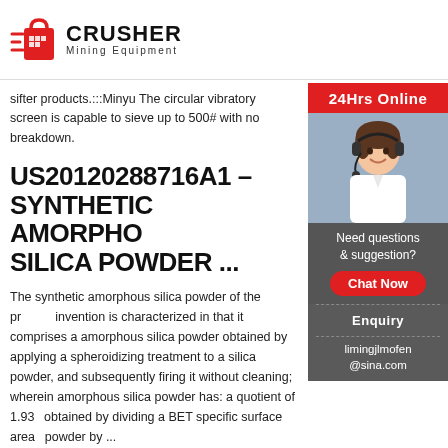CRUSHER Mining Equipment
sifter products.:::Minyu The circular vibratory screen is capable to sieve up to 500# with no breakdown.
US20120288716A1 – SYNTHETIC AMORPHOUS SILICA POWDER ...
The synthetic amorphous silica powder of the present invention is characterized in that it comprises a amorphous silica powder obtained by applying a spheroidizing treatment to a silica powder, and subsequently firing it without cleaning; wherein amorphous silica powder has: a quotient of 1.93... obtained by dividing a BET specific surface area... powder by ...
[Figure (photo): Customer service representative wearing headset, with '24Hrs Online' banner on top, 'Need questions & suggestion?' text, 'Chat Now' button in red, 'Enquiry' link, and 'limingjlmofen@sina.com' email at bottom.]
TUMBLER SCREENING, GYRATORY SIFTER, VIBRO...